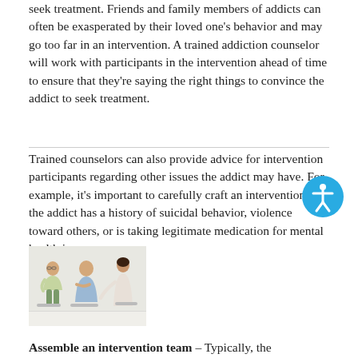seek treatment. Friends and family members of addicts can often be exasperated by their loved one's behavior and may go too far in an intervention. A trained addiction counselor will work with participants in the intervention ahead of time to ensure that they're saying the right things to convince the addict to seek treatment.
Trained counselors can also provide advice for intervention participants regarding other issues the addict may have. For example, it's important to carefully craft an intervention if the addict has a history of suicidal behavior, violence toward others, or is taking legitimate medication for mental health issues.
[Figure (photo): Three people sitting together in a counseling session — two clients and a therapist]
Assemble an intervention team – Typically, the